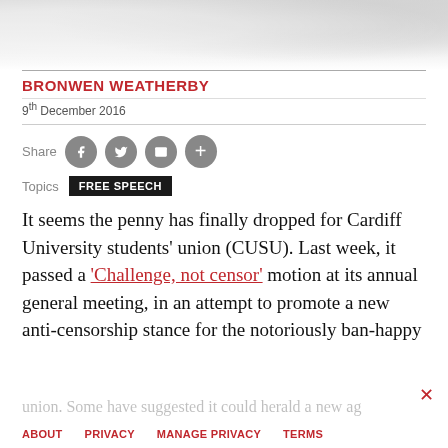[Figure (photo): Decorative crumpled paper texture in grey tones at the top of the page]
BRONWEN WEATHERBY
9th December 2016
Share [social icons: Facebook, Twitter, Email, Plus]
Topics FREE SPEECH
It seems the penny has finally dropped for Cardiff University students' union (CUSU). Last week, it passed a 'Challenge, not censor' motion at its annual general meeting, in an attempt to promote a new anti-censorship stance for the notoriously ban-happy union. Some have suggested it could herald a new ag
ABOUT   PRIVACY   MANAGE PRIVACY   TERMS